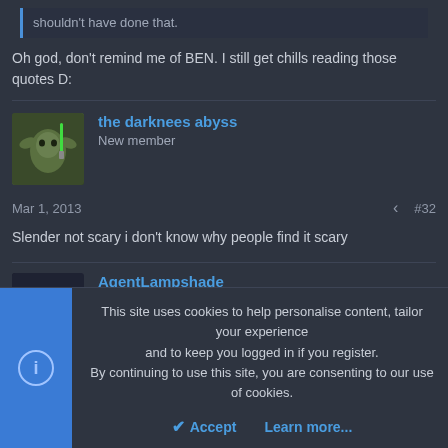shouldn't have done that.
Oh god, don't remind me of BEN. I still get chills reading those quotes D:
the darknees abyss
New member
Mar 1, 2013  #32
Slender not scary i don't know why people find it scary
AgentLampshade
This site uses cookies to help personalise content, tailor your experience and to keep you logged in if you register.
By continuing to use this site, you are consenting to our use of cookies.
Accept
Learn more...